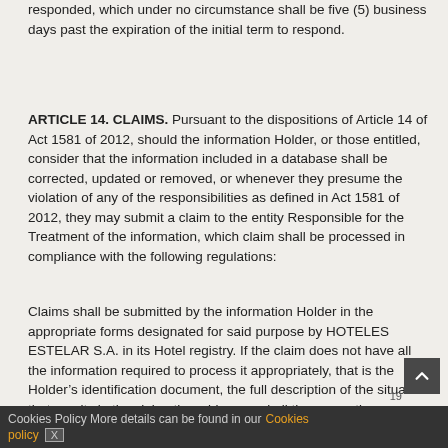responded, which under no circumstance shall be five (5) business days past the expiration of the initial term to respond.
ARTICLE 14. CLAIMS. Pursuant to the dispositions of Article 14 of Act 1581 of 2012, should the information Holder, or those entitled, consider that the information included in a database shall be corrected, updated or removed, or whenever they presume the violation of any of the responsibilities as defined in Act 1581 of 2012, they may submit a claim to the entity Responsible for the Treatment of the information, which claim shall be processed in compliance with the following regulations:
Claims shall be submitted by the information Holder in the appropriate forms designated for said purpose by HOTELES ESTELAR S.A. in its Hotel registry. If the claim does not have all the information required to process it appropriately, that is the Holder's identification document, the full description of the situation that results in the claim, the address and all the supporting documents, then the petitioner shall be notified within five (5) days of the initial entry of the claim in order to correct said faults. If after two (2) months from said
Cookies Policy More details can be found in our Cookies policy X